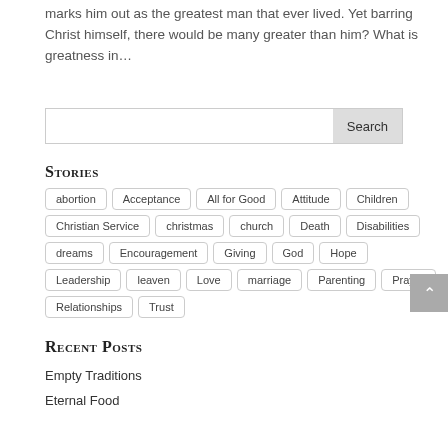marks him out as the greatest man that ever lived. Yet barring Christ himself, there would be many greater than him? What is greatness in…
Search
Stories
abortion
Acceptance
All for Good
Attitude
Children
Christian Service
christmas
church
Death
Disabilities
dreams
Encouragement
Giving
God
Hope
Leadership
leaven
Love
marriage
Parenting
Prayer
Relationships
Trust
Recent Posts
Empty Traditions
Eternal Food